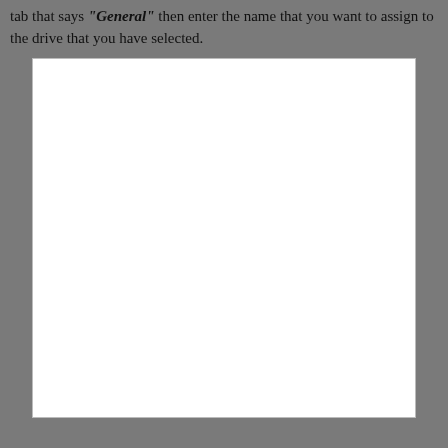tab that says "General" then enter the name that you want to assign to the drive that you have selected.
[Figure (screenshot): A blank white screenshot placeholder area, representing a dialog or window screenshot that has been clipped or is empty.]